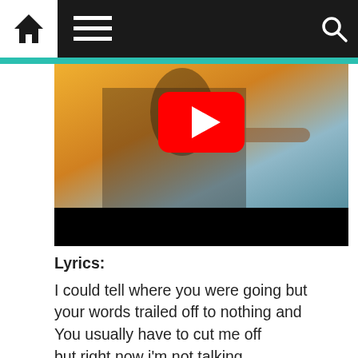Home | Menu | Search
[Figure (screenshot): YouTube video thumbnail showing a person in a patterned shirt with arms outstretched against a sunset sky, with a red YouTube play button overlay]
Lyrics:
I could tell where you were going but
your words trailed off to nothing and
You usually have to cut me off
but right now i'm not talking

I don't understand your references
or your collegiate sentences
Friends who talk theory when